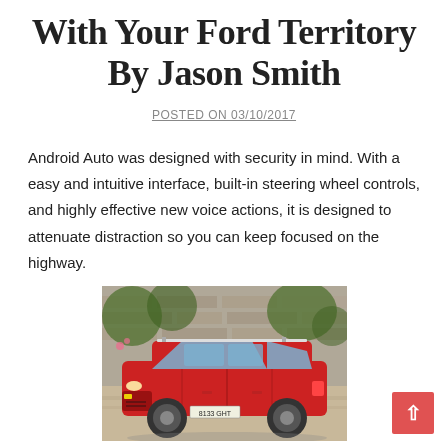With Your Ford Territory By Jason Smith
POSTED ON 03/10/2017
Android Auto was designed with security in mind. With a easy and intuitive interface, built-in steering wheel controls, and highly effective new voice actions, it is designed to attenuate distraction so you can keep focused on the highway.
[Figure (photo): A red station wagon / estate car (resembling a SEAT Exeo or similar) parked in front of a stone building with ivy, photographed from a front-three-quarter angle. The car has a license plate reading 8133 GHT.]